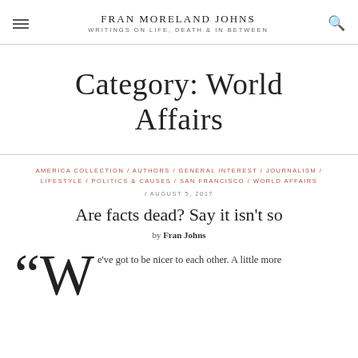FRAN MORELAND JOHNS / WRITINGS ON LIFE, DEATH & IN BETWEEN
Category: World Affairs
AMERICA COLLECTION / AUTHORS / GENERAL INTEREST / JOURNALISM / LIFESTYLE / POLITICS & CAUSES / SAN FRANCISCO / WORLD AFFAIRS / AUGUST 5, 2017
Are facts dead? Say it isn't so
by Fran Johns
e've got to be nicer to each other. A little more